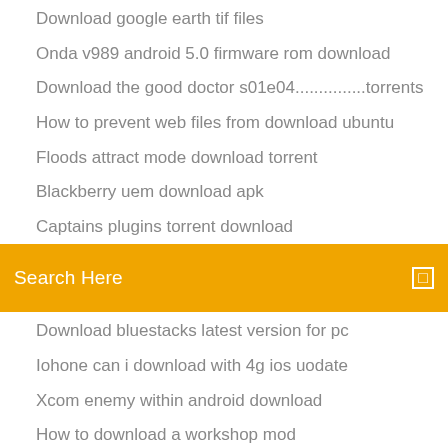Download google earth tif files
Onda v989 android 5.0 firmware rom download
Download the good doctor s01e04...............torrents
How to prevent web files from download ubuntu
Floods attract mode download torrent
Blackberry uem download apk
Captains plugins torrent download
[Figure (screenshot): Orange search bar with placeholder text 'Search Here' and a small white square icon on the right]
Download bluestacks latest version for pc
Iohone can i download with 4g ios uodate
Xcom enemy within android download
How to download a workshop mod
Evil rick theme download .mp4
Download driver epson l1455
My apps will not download to chromebook
Download free essential driver
Atomic design brad frost pdf download
Ark mod maps download pc